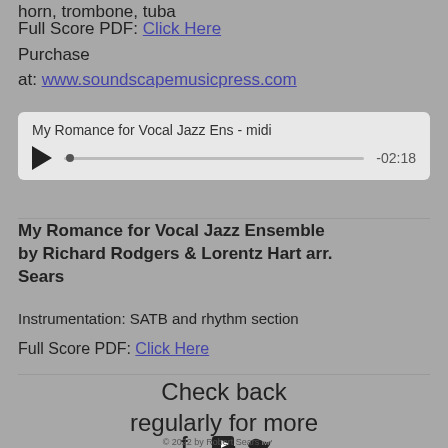horn, trombone, tuba
Full Score PDF: Click Here
Purchase at: www.soundscapemusicpress.com
[Figure (other): Audio player widget showing 'My Romance for Vocal Jazz Ens - midi' with play button, progress bar, and time -02:18]
My Romance for Vocal Jazz Ensemble by Richard Rodgers & Lorentz Hart arr. Sears
Instrumentation: SATB and rhythm section
Full Score PDF: Click Here
Check back regularly for more updates!
© 2022 by Robert Sears Music